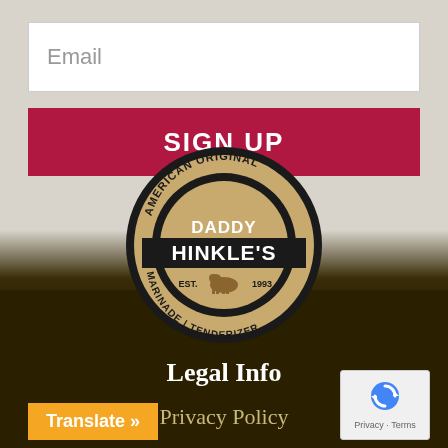Email
SIGN UP
[Figure (logo): Daddy Hinkle's American Original Marinade Tenderizer circular logo, est. 1993, with bison in center]
Legal Info
Privacy Policy
Translate »
[Figure (other): reCAPTCHA widget showing recycle/refresh arrows icon with Privacy and Terms text]